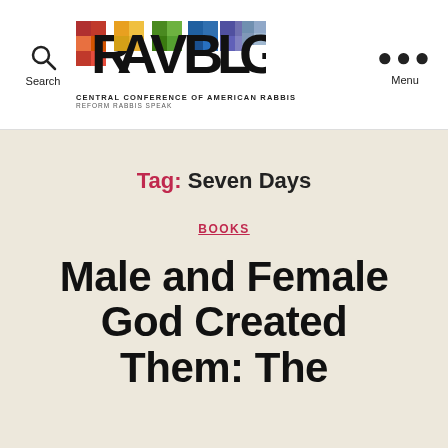[Figure (logo): RAVBLOG logo with colorful mosaic letters, subtitle CENTRAL CONFERENCE OF AMERICAN RABBIS / REFORM RABBIS SPEAK]
Search | RAVBLOG CENTRAL CONFERENCE OF AMERICAN RABBIS REFORM RABBIS SPEAK | Menu
Tag: Seven Days
BOOKS
Male and Female God Created Them: The